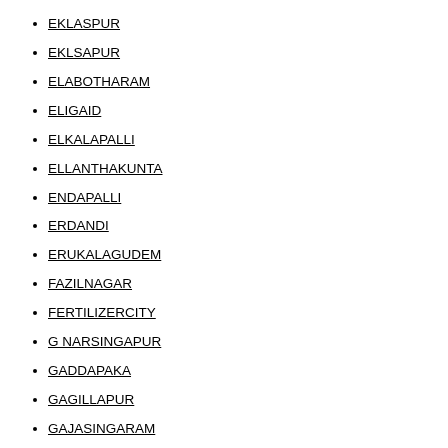EKLASPUR
EKLSAPUR
ELABOTHARAM
ELIGAID
ELKALAPALLI
ELLANTHAKUNTA
ENDAPALLI
ERDANDI
ERUKALAGUDEM
FAZILNAGAR
FERTILIZERCITY
G NARSINGAPUR
GADDAPAKA
GAGILLAPUR
GAJASINGARAM